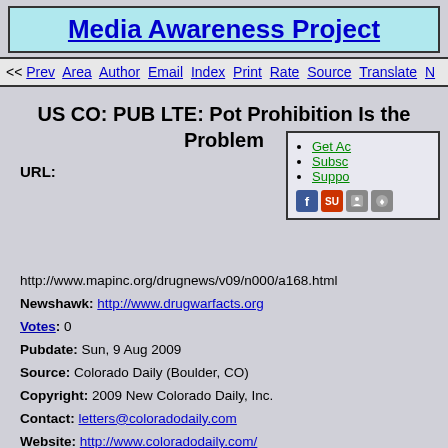Media Awareness Project
<< Prev Area Author Email Index Print Rate Source Translate N
US CO: PUB LTE: Pot Prohibition Is the Problem
URL:
Get Ac
Subsc
Suppo
http://www.mapinc.org/drugnews/v09/n000/a168.html
Newshawk: http://www.drugwarfacts.org
Votes: 0
Pubdate: Sun, 9 Aug 2009
Source: Colorado Daily (Boulder, CO)
Copyright: 2009 New Colorado Daily, Inc.
Contact: letters@coloradodaily.com
Website: http://www.coloradodaily.com/
Details: http://www.mapinc.org/media/1557